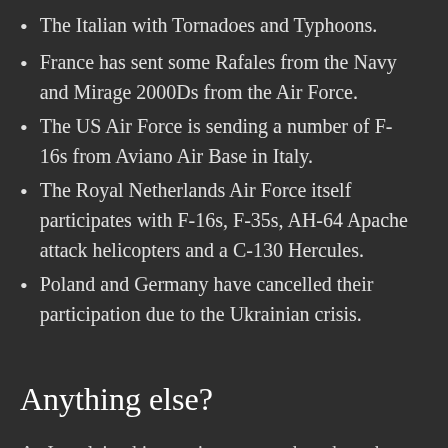The Italian with Tornadoes and Typhoons.
France has sent some Rafales from the Navy and Mirage 2000Ds from the Air Force.
The US Air Force is sending a number of F-16s from Aviano Air Base in Italy.
The Royal Netherlands Air Force itself participates with F-16s, F-35s, AH-64 Apache attack helicopters and a C-130 Hercules.
Poland and Germany have cancelled their participation due to the Ukrainian crisis.
Anything else?
As I explained in previous posts, there have been